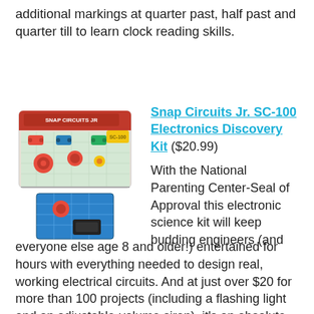additional markings at quarter past, half past and quarter till to learn clock reading skills.
[Figure (photo): Photo of Snap Circuits Jr. SC-100 Electronics Discovery Kit box and components showing colorful electronic snap-together parts on a circuit board grid]
Snap Circuits Jr. SC-100 Electronics Discovery Kit ($20.99)
With the National Parenting Center-Seal of Approval this electronic science kit will keep budding engineers (and everyone else age 8 and older!) entertained for hours with everything needed to design real, working electrical circuits. And at just over $20 for more than 100 projects (including a flashing light and an adjustable-volume siren), it's an absolute steal.